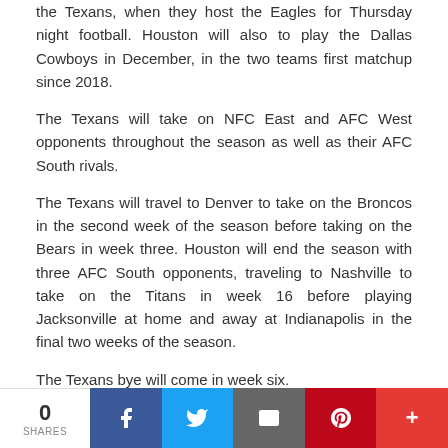The only prime time game of the season will come on Nov 2 for the Texans, when they host the Eagles for Thursday night football. Houston will also to play the Dallas Cowboys in December, in the two teams first matchup since 2018.
The Texans will take on NFC East and AFC West opponents throughout the season as well as their AFC South rivals.
The Texans will travel to Denver to take on the Broncos in the second week of the season before taking on the Bears in week three. Houston will end the season with three AFC South opponents, traveling to Nashville to take on the Titans in week 16 before playing Jacksonville at home and away at Indianapolis in the final two weeks of the season.
The Texans bye will come in week six.
Following is the Texans full preseason and regular season schedule.
Preseason
| Week | Day | Date | Opponent |
| --- | --- | --- | --- |
| 1 | TBD | TBD | New Orleans Sain |
0 SHARES | Facebook | Twitter | Email | Pinterest | More